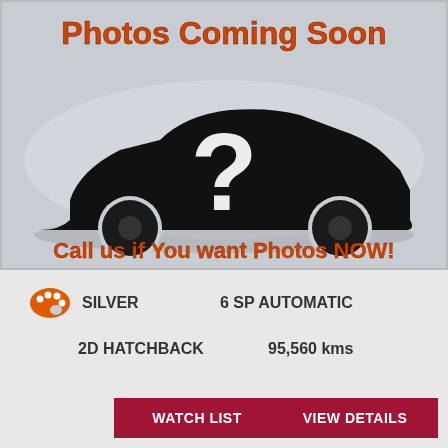[Figure (illustration): Car placeholder image with black silhouette of a hatchback car on grey background with question mark, text 'Photos Coming Soon' at top in orange/red and 'Call us if You want Photos NOW!' at bottom in orange/red.]
SILVER   6 SP AUTOMATIC
2D HATCHBACK   95,560 kms
WATCH LIST
VIEW DETAILS